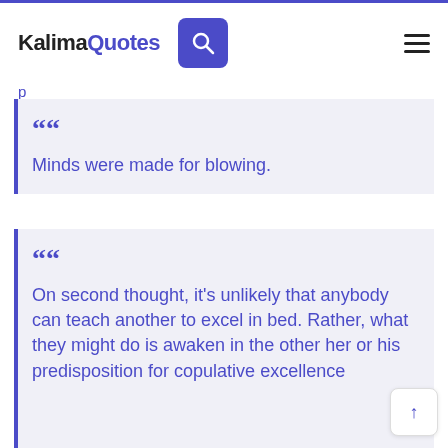KalimaQuotes
Minds were made for blowing.
On second thought, it's unlikely that anybody can teach another to excel in bed. Rather, what they might do is awaken in the other her or his predisposition for copulative excellence